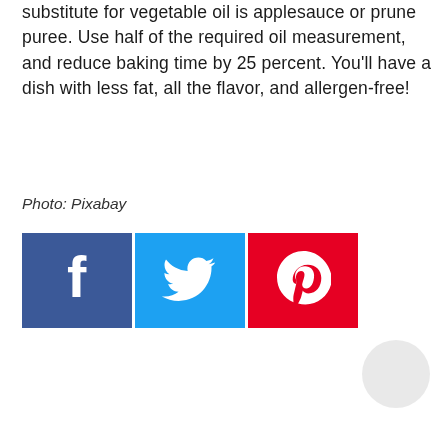substitute for vegetable oil is applesauce or prune puree. Use half of the required oil measurement, and reduce baking time by 25 percent. You'll have a dish with less fat, all the flavor, and allergen-free!
Photo: Pixabay
[Figure (illustration): Social media share buttons: Facebook (blue), Twitter (light blue), Pinterest (red)]